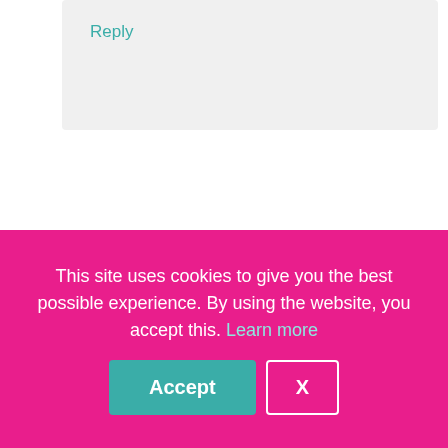Reply
Bushra
I was not aware of the types of
This site uses cookies to give you the best possible experience. By using the website, you accept this. Learn more
Accept
X